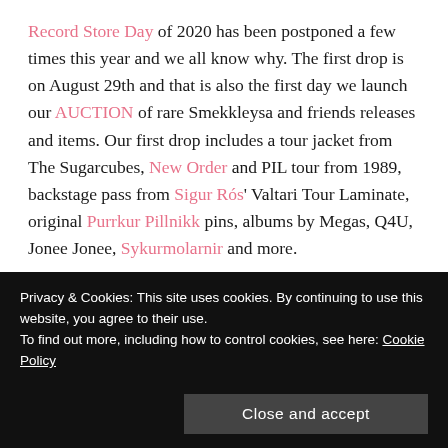Record Store Day of 2020 has been postponed a few times this year and we all know why. The first drop is on August 29th and that is also the first day we launch our AUCTION of rare Smekkleysa and friends releases and items. Our first drop includes a tour jacket from The Sugarcubes, New Order and PIL tour from 1989, backstage pass from Sigur Rós' Valtari Tour Laminate, original Purrkur Pillnikk pins, albums by Megas, Q4U, Jonee Jonee, Sykurmolarnir and more.
Smekkleysa SM was formed in 1986 by a group of friends. Its history is documented elsewhere on this site...
Privacy & Cookies: This site uses cookies. By continuing to use this website, you agree to their use.
To find out more, including how to control cookies, see here: Cookie Policy
Close and accept
The Sugarcubes